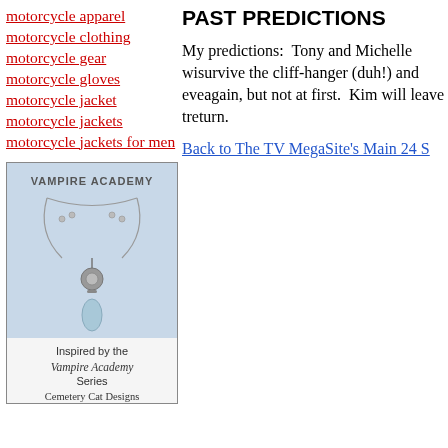motorcycle apparel
motorcycle clothing
motorcycle gear
motorcycle gloves
motorcycle jacket
motorcycle jackets
motorcycle jackets for men
[Figure (photo): Vampire Academy necklace jewelry advertisement. Shows a necklace with a teardrop gemstone pendant on a chain, with text 'VAMPIRE ACADEMY' at top, 'Inspired by the Vampire Academy Series' and 'Cemetery Cat Designs' at bottom.]
PAST PREDICTIONS
My predictions:  Tony and Michelle will survive the cliff-hanger (duh!) and eventually get together again, but not at first.  Kim will leave to never return.
Back to The TV MegaSite's Main 24 S